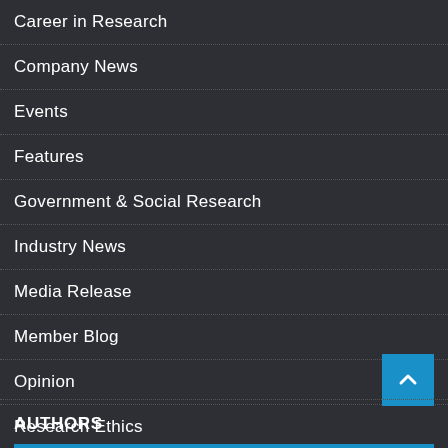Career in Research
Company News
Events
Features
Government & Social Research
Industry News
Media Release
Member Blog
Opinion
Research Ethics
Social Research
Uncategorized
AUTHORS